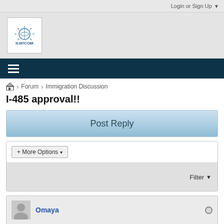Login or Sign Up
[Figure (logo): ILW.COM logo with sun/rays graphic above text]
≡ (hamburger menu icon)
🏠 > Forum > Immigration Discussion
I-485 approval!!
Post Reply
+ More Options ▾
Filter ▾
Omaya